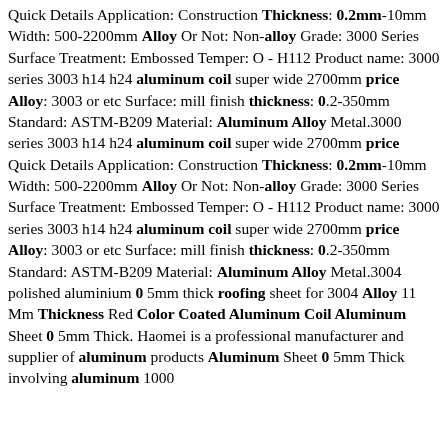Quick Details Application: Construction Thickness: 0.2mm-10mm Width: 500-2200mm Alloy Or Not: Non-alloy Grade: 3000 Series Surface Treatment: Embossed Temper: O - H112 Product name: 3000 series 3003 h14 h24 aluminum coil super wide 2700mm price Alloy: 3003 or etc Surface: mill finish thickness: 0.2-350mm Standard: ASTM-B209 Material: Aluminum Alloy Metal.3000 series 3003 h14 h24 aluminum coil super wide 2700mm price Quick Details Application: Construction Thickness: 0.2mm-10mm Width: 500-2200mm Alloy Or Not: Non-alloy Grade: 3000 Series Surface Treatment: Embossed Temper: O - H112 Product name: 3000 series 3003 h14 h24 aluminum coil super wide 2700mm price Alloy: 3003 or etc Surface: mill finish thickness: 0.2-350mm Standard: ASTM-B209 Material: Aluminum Alloy Metal.3004 polished aluminium 0 5mm thick roofing sheet for 3004 Alloy 11 Mm Thickness Red Color Coated Aluminum Coil Aluminum Sheet 0 5mm Thick. Haomei is a professional manufacturer and supplier of aluminum products Aluminum Sheet 0 5mm Thick involving aluminum 1000